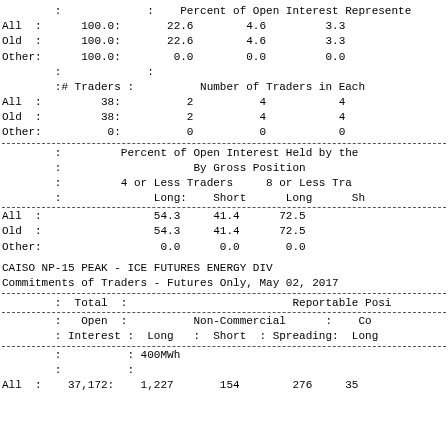|  | : |  | Percent of Open Interest Represente |
| All | : | 100.0: | 22.6 | 4.6 | 3.3 |
| Old | : | 100.0: | 22.6 | 4.6 | 3.3 |
| Other: |  | 100.0: | 0.0 | 0.0 | 0.0 |
|  | : |  |  |
|  | :#  Traders : |  | Number of Traders in Each |
| All | : | 38: | 2 | 4 | 4 |
| Old | : | 38: | 2 | 4 | 4 |
| Other: |  | 0: | 0 | 0 | 0 |
|  | : |  | Percent of Open Interest Held by the |
|  | : |  | By Gross Position |
|  | : | 4 or Less Traders |  | 8 or Less Tra |
|  | : | Long: | Short | Long | Sh |
| All | : |  | 54.3 | 41.4 | 72.5 |
| Old | : |  | 54.3 | 41.4 | 72.5 |
| Other: |  |  | 0.0 | 0.0 | 0.0 |
CAISO NP-15 PEAK - ICE FUTURES ENERGY DIV
Commitments of Traders - Futures Only, May 02, 2017
|  | Total |  | Reportable Posi |
| --- | --- | --- | --- |
|  | Open |  | Non-Commercial | : | Co |
|  | Interest | Long | : | Short | : | Spreading: | Long |
|  |  | : 400MWh |  |
|  |  | : |
| All | : | 37,172: | 1,227 | 154 | 276 | 35 |